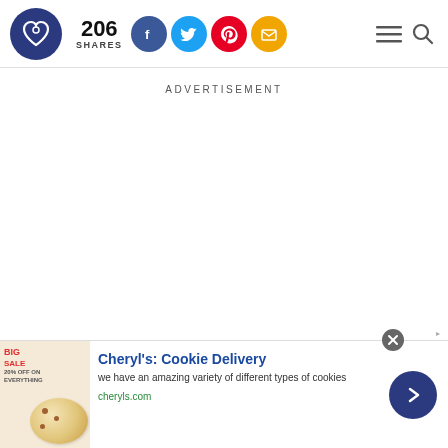206 SHARES — social sharing header with logo, Facebook, Twitter, Pinterest, Email icons, hamburger menu and search
ADVERTISEMENT
[Figure (infographic): Bottom advertisement banner for Cheryl's Cookie Delivery showing cookie image, sale badge, headline, description and arrow button]